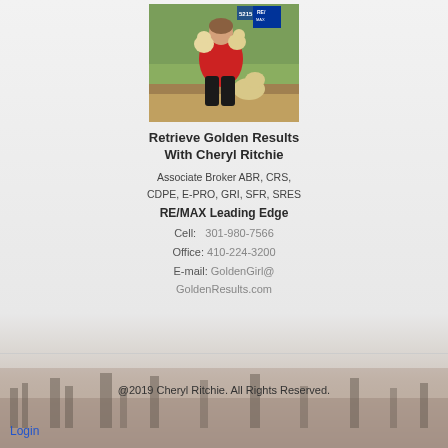[Figure (photo): Woman in red jacket sitting on ground holding golden retriever puppies, with RE/MAX sign in background]
Retrieve Golden Results With Cheryl Ritchie
Associate Broker ABR, CRS,
CDPE, E-PRO, GRI, SFR, SRES
RE/MAX Leading Edge
Cell:    301-980-7566
Office: 410-224-3200
E-mail: GoldenGirl@
GoldenResults.com
@2019 Cheryl Ritchie. All Rights Reserved.
Login